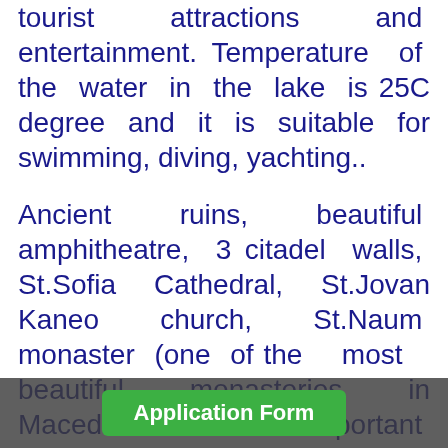tourist attractions and entertainment. Temperature of the water in the lake is 25C degree and it is suitable for swimming, diving, yachting..
Ancient ruins, beautiful amphitheatre, 3 citadel walls, St.Sofia Cathedral, St.Jovan Kaneo church, St.Naum monaster (one of the most beautiful monasteries in Macedonia and an important pilgrimage place. Breathtaking setting on a plateau over Ohrid Lake and Galicica mountain towering from behind.Gallery of exclusive icons, museums, workshops for hand-made paper, woodcarving and famous Ohrid pearls, are among hundreds sites for tourists worth ... is also a strong Roman connection to the city, since
[Figure (other): Green 'Application Form' button overlaid on a dark semi-transparent bar at the bottom of the page]